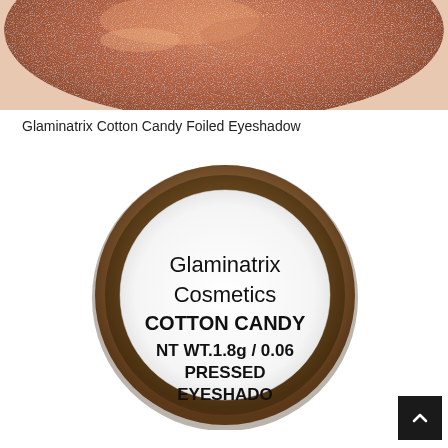[Figure (photo): Close-up photo of a copper/rose gold metallic glittery eyeshadow swatch on skin, cropped at top of page]
Glaminatrix Cotton Candy Foiled Eyeshadow
[Figure (photo): Photo of a small round metallic bronzy tin/compact with a white label reading: Glaminatrix Cosmetics, COTTON CANDY, NT WT.1.8g / 0.06[oz], PRESSED EYESHADOW[...]]
[Figure (other): Black square scroll-to-top button with white upward-pointing chevron arrow in bottom-right corner]